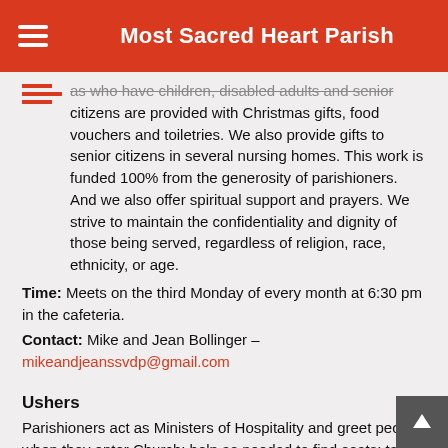Most Sacred Heart Parish
as who have children, disabled adults and senior citizens are provided with Christmas gifts, food vouchers and toiletries. We also provide gifts to senior citizens in several nursing homes. This work is funded 100% from the generosity of parishioners. And we also offer spiritual support and prayers. We strive to maintain the confidentiality and dignity of those being served, regardless of religion, race, ethnicity, or age.
Time: Meets on the third Monday of every month at 6:30 pm in the cafeteria.
Contact: Mike and Jean Bollinger – mikeandjeanssvdp@gmail.com
Ushers
Parishioners act as Ministers of Hospitality and greet people when they enter Church; help as needed to find seats; take up the collection at Mass and distribute bulletins at the end of Mass. Training and mentoring are provided.
Contact: John Taylor – jwtaylor55@att.net